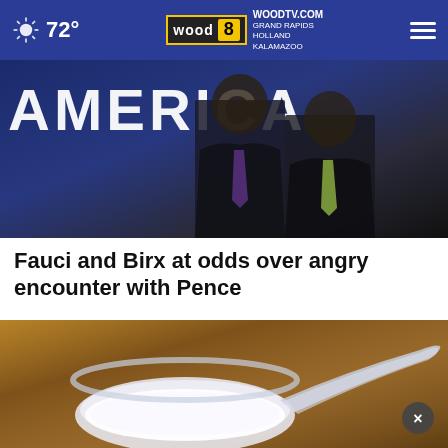72° WOODTV.COM WOOD 8 GRAND RAPIDS HOLLAND KALAMAZOO
[Figure (photo): Two men in dark suits standing in front of a blue background with the word AMERICA. One wears a purple tie, the other a light green tie.]
Fauci and Birx at odds over angry encounter with Pence
[Figure (photo): A plastic measuring scoop filled with white powder on a wooden surface. Overlaid with a TARGET 8 investigates advertisement banner reading GOT A TIP?]